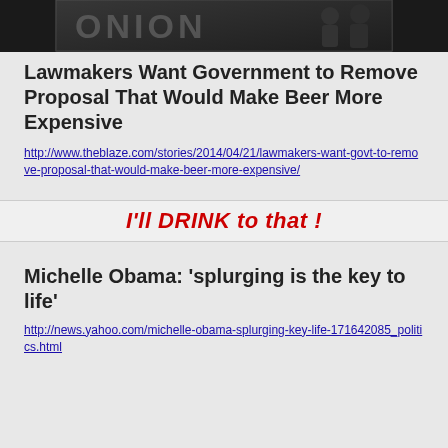[Figure (photo): Dark photo strip at top showing silhouette of people on dark background]
Lawmakers Want Government to Remove Proposal That Would Make Beer More Expensive
http://www.theblaze.com/stories/2014/04/21/lawmakers-want-govt-to-remove-proposal-that-would-make-beer-more-expensive/
I'll DRINK to that !
Michelle Obama: ‘splurging is the key to life’
http://news.yahoo.com/michelle-obama-splurging-key-life-171642085_politics.html